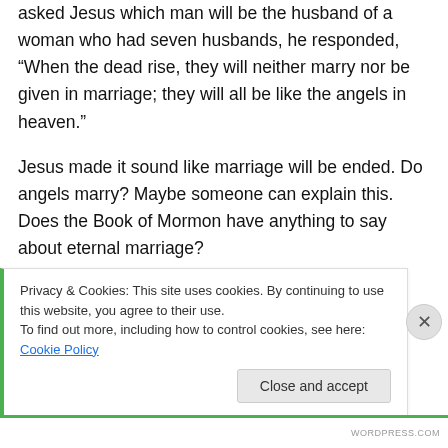asked Jesus which man will be the husband of a woman who had seven husbands, he responded, “When the dead rise, they will neither marry nor be given in marriage; they will all be like the angels in heaven.”
Jesus made it sound like marriage will be ended. Do angels marry? Maybe someone can explain this. Does the Book of Mormon have anything to say about eternal marriage?
In any case, I don’t see it as a big issue. What
Privacy & Cookies: This site uses cookies. By continuing to use this website, you agree to their use.
To find out more, including how to control cookies, see here: Cookie Policy